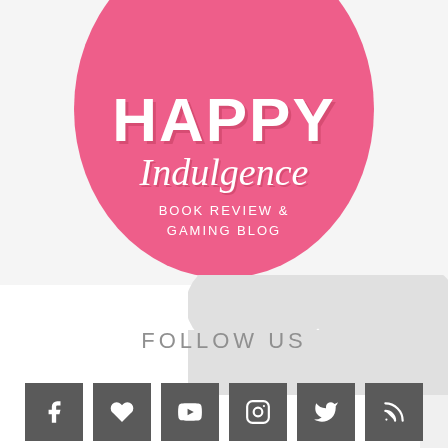[Figure (logo): Happy Indulgence blog logo — pink circle with white text: HAPPY Indulgence, Book Review & Gaming Blog]
FOLLOW US
[Figure (infographic): Row of six dark gray social media icon buttons: Facebook, Heart/Bloglovin, YouTube, Instagram, Twitter, RSS]